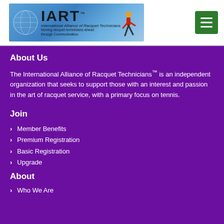[Figure (logo): IART - International Alliance of Racquet Technicians logo on blue gradient background with globe and figure graphic]
About Us
The International Alliance of Racquet Technicians™ is an independent organization that seeks to support those with an interest and passion in the art of racquet service, with a primary focus on tennis.
Join
Member Benefits
Premium Registration
Basic Registration
Upgrade
About
Who We Are